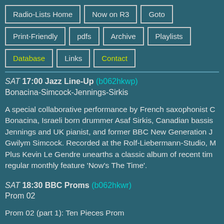Radio-Lists Home
Now on R3
Goto
Print-Friendly
pdfs
Archive
Playlists
Database
Links
Contact
SAT 17:00 Jazz Line-Up (b062hkwp)
Bonacina-Simcock-Jennings-Sirkis
A special collaborative performance by French saxophonist C Bonacina, Israeli born drummer Asaf Sirkis, Canadian bassist Jennings and UK pianist, and former BBC New Generation J Gwilym Simcock. Recorded at the Rolf-Liebermann-Studio, M Plus Kevin Le Gendre unearths a classic album of recent tim regular monthly feature 'Now's The Time'.
SAT 18:30 BBC Proms (b062hkwr)
Prom 02
Prom 02 (part 1): Ten Pieces Prom